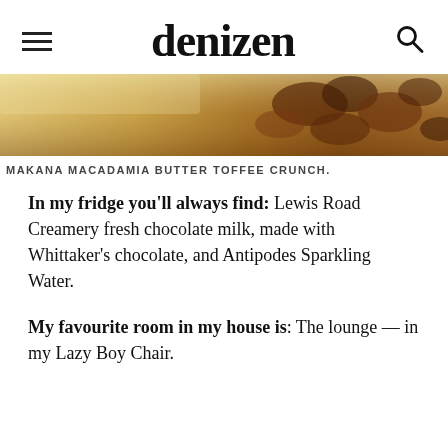denizen
[Figure (photo): Close-up photo of Makana macadamia butter toffee crunch confectionery with warm golden and brown tones]
MAKANA MACADAMIA BUTTER TOFFEE CRUNCH.
In my fridge you'll always find: Lewis Road Creamery fresh chocolate milk, made with Whittaker's chocolate, and Antipodes Sparkling Water.
My favourite room in my house is: The lounge — in my Lazy Boy Chair.